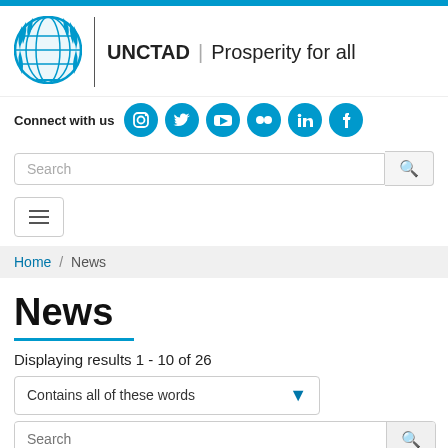[Figure (logo): UNCTAD logo with UN emblem and text 'UNCTAD | Prosperity for all']
Connect with us
[Figure (infographic): Social media icons: Instagram, Twitter, YouTube, Flickr, LinkedIn, Facebook]
Search
Home / News
News
Displaying results 1 - 10 of 26
Contains all of these words
Search